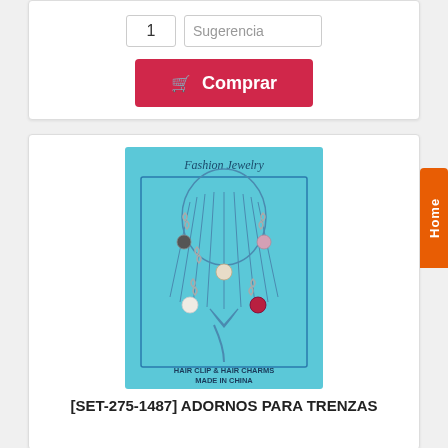[Figure (screenshot): Quantity input box showing '1' and a 'Sugerencia' (suggestion) text field side by side]
[Figure (other): Red 'Comprar' (Buy) button with shopping cart icon]
[Figure (photo): Product image showing a Fashion Jewelry hair clip and hair charms set on a light blue card with illustration of braided hair. Text reads 'HAIR CLIP & HAIR CHARMS MADE IN CHINA']
[SET-275-1487] ADORNOS PARA TRENZAS